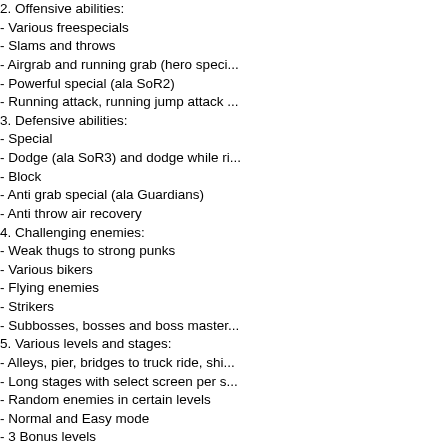2. Offensive abilities:
- Various freespecials
- Slams and throws
- Airgrab and running grab (hero speci...
- Powerful special (ala SoR2)
- Running attack, running jump attack ...
3. Defensive abilities:
- Special
- Dodge (ala SoR3) and dodge while r...
- Block
- Anti grab special (ala Guardians)
- Anti throw air recovery
4. Challenging enemies:
- Weak thugs to strong punks
- Various bikers
- Flying enemies
- Strikers
- Subbosses, bosses and boss master...
5. Various levels and stages:
- Alleys, pier, bridges to truck ride, shi...
- Long stages with select screen per s...
- Random enemies in certain levels
- Normal and Easy mode
- 3 Bonus levels
6. Alternate paths:
- Local branches
- Time based branches
- 4 different endings
7. Locked game modes:
Extra
- Extra stages!
- Extra enemies!
- Extra difficulty!
- Extra challenge!
Boss Party
- Single stage filled with bosses and su...
- Main Branches and Room Branches!...